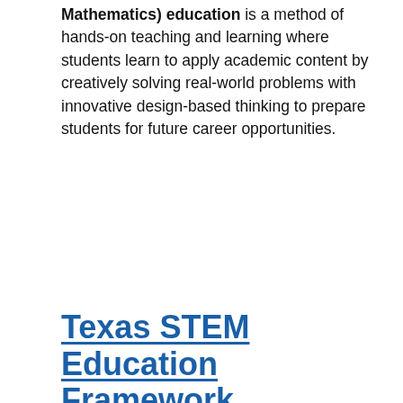STEM (Science, Technology, Engineering, and Mathematics) education is a method of hands-on teaching and learning where students learn to apply academic content by creatively solving real-world problems with innovative design-based thinking to prepare students for future career opportunities.
Texas STEM Education Framework
The STEM Education Framework provides the definition, theory of action, and objectives for implementing STEM education across Texas. The framework includes strategies